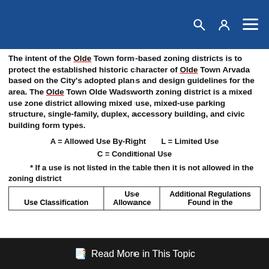[Navigation bar with search, user, and menu icons]
The intent of the Olde Town form-based zoning districts is to protect the established historic character of Olde Town Arvada based on the City's adopted plans and design guidelines for the area. The Olde Town Olde Wadsworth zoning district is a mixed use zone district allowing mixed use, mixed-use parking structure, single-family, duplex, accessory building, and civic building form types.
A = Allowed Use By-Right    L = Limited Use
C = Conditional Use
* If a use is not listed in the table then it is not allowed in the zoning district
| Use Classification | Use Allowance | Additional Regulations Found in the |
| --- | --- | --- |
Read More in This Topic